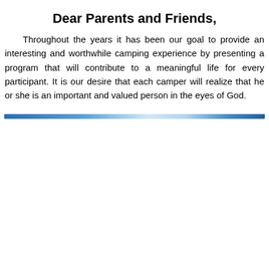Dear Parents and Friends,
Throughout the years it has been our goal to provide an interesting and worthwhile camping experience by presenting a program that will contribute to a meaningful life for every participant. It is our desire that each camper will realize that he or she is an important and valued person in the eyes of God.
[Figure (illustration): A horizontal decorative divider bar with a blue gradient, transitioning from dark blue on the left to a light/white highlight in the center and back to blue on the right.]